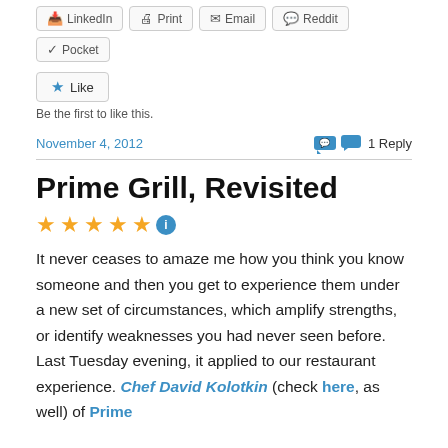LinkedIn  Print  Email  Reddit  Pocket
Like
Be the first to like this.
November 4, 2012   1 Reply
Prime Grill, Revisited
[Figure (other): Five gold star rating with blue info icon]
It never ceases to amaze me how you think you know someone and then you get to experience them under a new set of circumstances, which amplify strengths, or identify weaknesses you had never seen before.  Last Tuesday evening, it applied to our restaurant experience. Chef David Kolotkin (check here, as well) of Prime